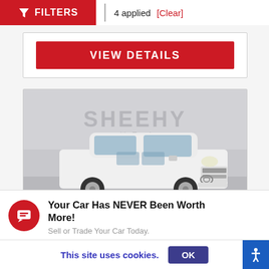FILTERS | 4 applied [Clear]
VIEW DETAILS
[Figure (photo): White Toyota 4Runner SUV photographed in front of a Sheehy dealership backdrop with the text 'SHEEHY – It's Easy!']
Your Car Has NEVER Been Worth More!
Sell or Trade Your Car Today.
This site uses cookies. OK